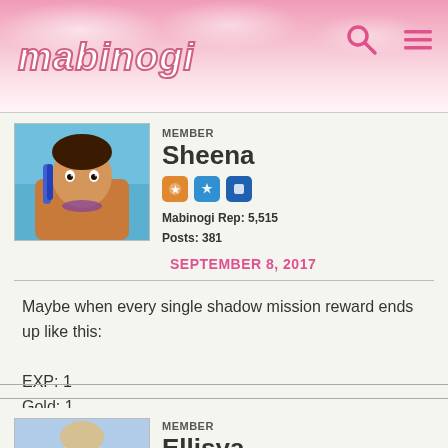mabinogi
Member
Sheena
Mabinogi Rep: 5,515
Posts: 381
SEPTEMBER 8, 2017
Maybe when every single shadow mission reward ends up like this:

EXP: 1
Gold: 1
Member
Ellisya